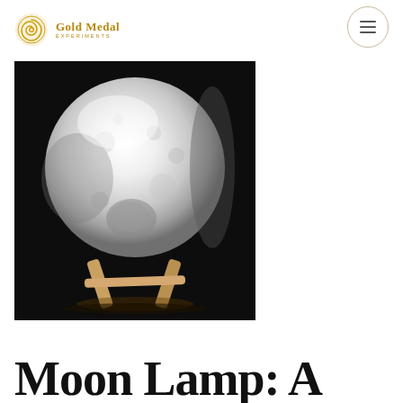Gold Medal Experiments
[Figure (photo): A glowing moon lamp on a wooden stand against a dark background. The spherical lamp emits white/cool light and shows moon surface texture with craters. It sits on a V-shaped wooden stand.]
Moon Lamp: A